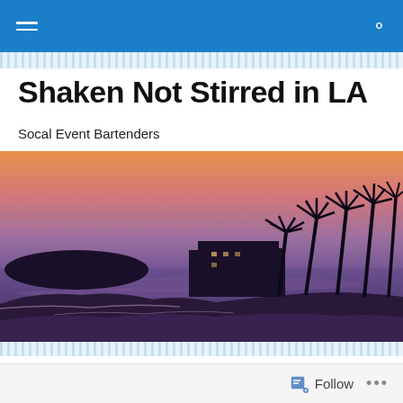Navigation bar with hamburger menu and search icon
Shaken Not Stirred in LA
Socal Event Bartenders
[Figure (photo): Sunset beach scene with silhouetted palm trees, a coastal building, and purple-pink sky over the ocean]
TAGGED WITH ENGAGEMENT PARTY
[Figure (photo): Thumbnail strip of event photos partially visible at bottom]
Follow  •••